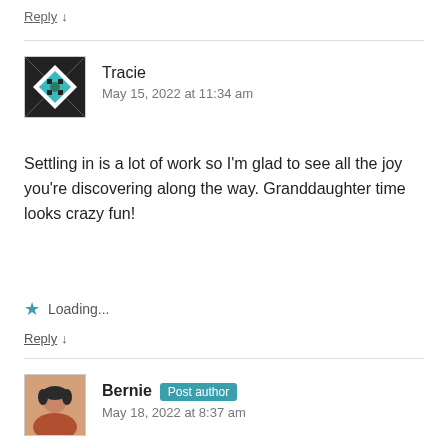Reply ↓
Tracie
May 15, 2022 at 11:34 am
Settling in is a lot of work so I'm glad to see all the joy you're discovering along the way. Granddaughter time looks crazy fun!
Loading...
Reply ↓
Bernie Post author
May 18, 2022 at 8:37 am